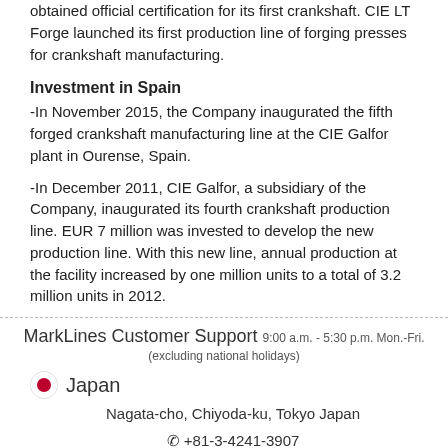obtained official certification for its first crankshaft. CIE LT Forge launched its first production line of forging presses for crankshaft manufacturing.
Investment in Spain
-In November 2015, the Company inaugurated the fifth forged crankshaft manufacturing line at the CIE Galfor plant in Ourense, Spain.
-In December 2011, CIE Galfor, a subsidiary of the Company, inaugurated its fourth crankshaft production line. EUR 7 million was invested to develop the new production line. With this new line, annual production at the facility increased by one million units to a total of 3.2 million units in 2012.
MarkLines Customer Support 9:00 a.m. - 5:30 p.m. Mon.-Fri. (excluding national holidays) Japan Nagata-cho, Chiyoda-ku, Tokyo Japan +81-3-4241-3907